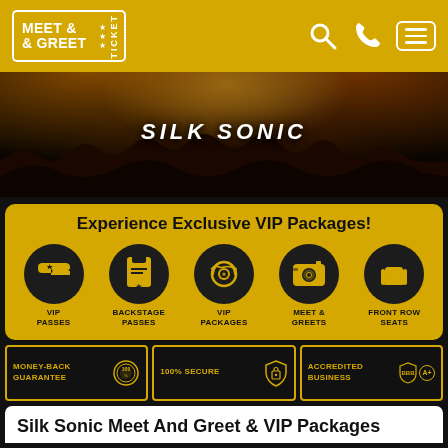[Figure (logo): Meet & Greet Ticket logo with golden ticket shape and stars, on golden background with search, phone, and menu icons]
[Figure (photo): Concert crowd with stage lights and the text SILK SONIC displayed prominently in the center]
Experience Exclusive VIP Packages!
[Figure (infographic): Five circular dark icons on golden background: VIP Passes (star ticket), Backstage Passes (badge), VIP Packages (wreath trophy), Meet & Greets (camera), Front Row Seats (armchair)]
MONEY-BACK GUARANTEE
100% SECURE
ACCREDITED BUSINESS
Silk Sonic Meet And Greet & VIP Packages